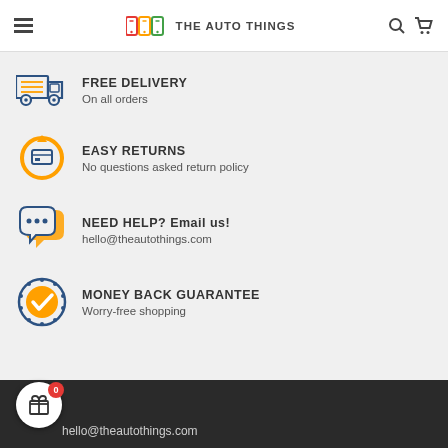THE AUTO THINGS
FREE DELIVERY — On all orders
EASY RETURNS — No questions asked return policy
NEED HELP? Email us! — hello@theautothings.com
MONEY BACK GUARANTEE — Worry-free shopping
hello@theautothings.com